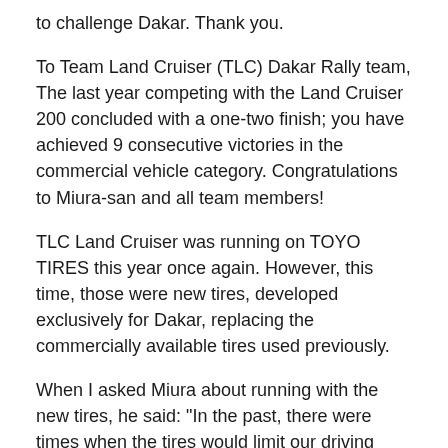to challenge Dakar. Thank you.
To Team Land Cruiser (TLC) Dakar Rally team, The last year competing with the Land Cruiser 200 concluded with a one-two finish; you have achieved 9 consecutive victories in the commercial vehicle category. Congratulations to Miura-san and all team members!
TLC Land Cruiser was running on TOYO TIRES this year once again. However, this time, those were new tires, developed exclusively for Dakar, replacing the commercially available tires used previously.
When I asked Miura about running with the new tires, he said: "In the past, there were times when the tires would limit our driving speed. However, this year, you can drive fully exploiting the potential of the Land Cruiser. Now we can do it! Thanks to the specially developed tires, the Land Cruiser itself became even more capable."